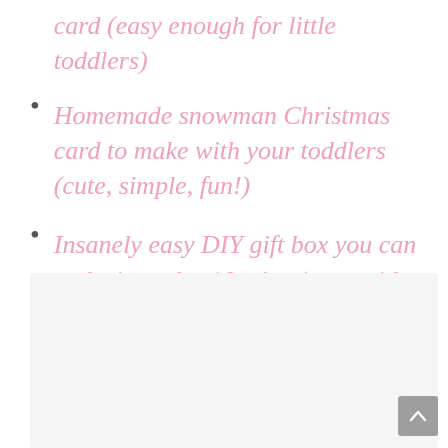card (easy enough for little toddlers)
Homemade snowman Christmas card to make with your toddlers (cute, simple, fun!)
Insanely easy DIY gift box you can make in under 10 mins (even with toddlers!)
[Figure (other): Gray placeholder box at the bottom of the page with a back-to-top arrow button in the bottom right corner]